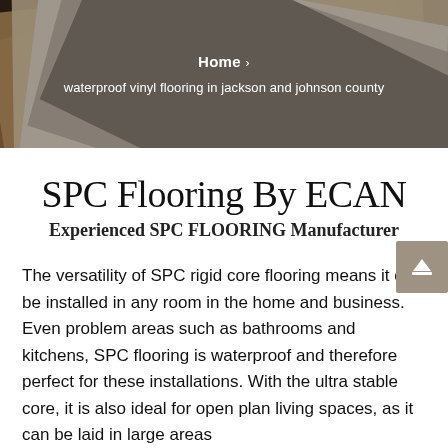Home >
waterproof vinyl flooring in jackson and johnson county
SPC Flooring By ECAN
Experienced SPC FLOORING Manufacturer
The versatility of SPC rigid core flooring means it can be installed in any room in the home and business. Even problem areas such as bathrooms and kitchens, SPC flooring is waterproof and therefore perfect for these installations. With the ultra stable core, it is also ideal for open plan living spaces, as it can be laid in large areas